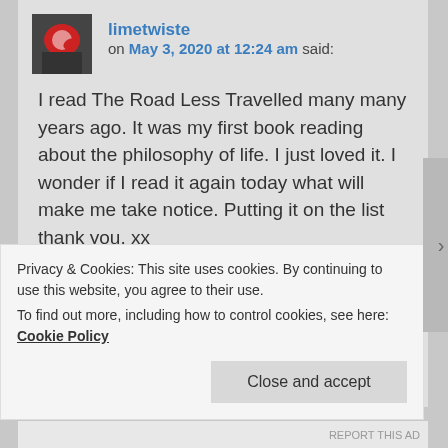limetwiste on May 3, 2020 at 12:24 am said:
I read The Road Less Travelled many many years ago. It was my first book reading about the philosophy of life. I just loved it. I wonder if I read it again today what will make me take notice. Putting it on the list thank you. xx
Thanks for the suggestion of chatting about depression. When I am in the middle of it I don't realise how my way of speaking changes. the tone gets harsher. the replies
Privacy & Cookies: This site uses cookies. By continuing to use this website, you agree to their use.
To find out more, including how to control cookies, see here: Cookie Policy
Close and accept